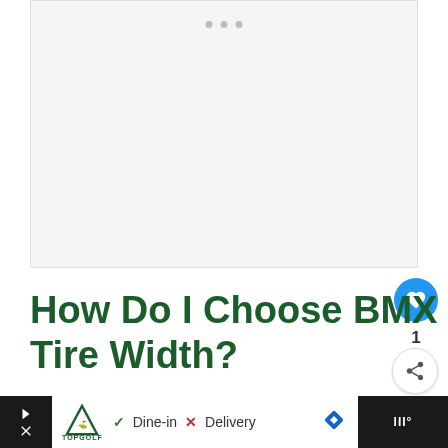[Figure (photo): Placeholder image area with light gray background, three gray dots at top center indicating a loading or carousel indicator]
How Do I Choose BMX Bike Tire Width?
BMX bike riding has quite a lot of types
[Figure (other): What's Next panel: thumbnail image with text 'Why BMX is Better Than...']
[Figure (other): Advertisement bar: Topgolf logo, Dine-in checkmark, Delivery X, navigation arrow diamond icon, temperature icon]